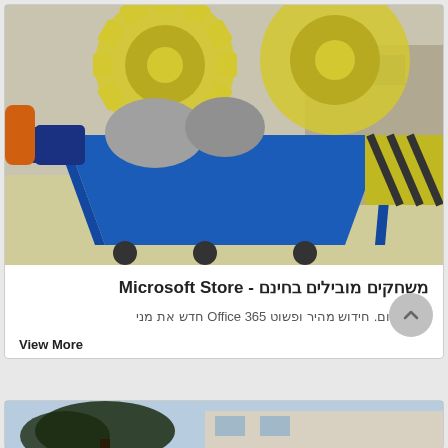[Figure (photo): Industrial machinery with large yellow gear wheels and a blue metal container/hopper, photographed outdoors in a concrete yard area.]
Microsoft Store - משחקים מובילים בחינם
שלך היום. חידוש מהיר ופשוט Office 365 חדש את מני
View More
[Figure (photo): Partial view of a building with trees in foreground against a light blue sky.]